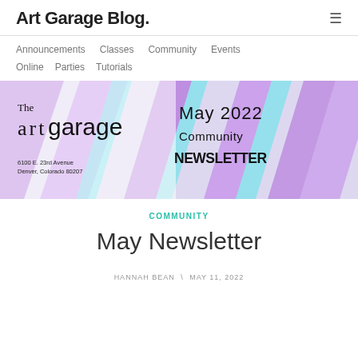Art Garage Blog.
Announcements  Classes  Community  Events
Online  Parties  Tutorials
[Figure (illustration): Art Garage May 2022 Community Newsletter banner image with colorful purple and cyan diagonal stripes, The Art Garage logo on left, and text 'May 2022 Community NEWSLETTER' on right. Address: 6100 E. 23rd Avenue, Denver, Colorado 80207.]
COMMUNITY
May Newsletter
HANNAH BEAN \ MAY 11, 2022